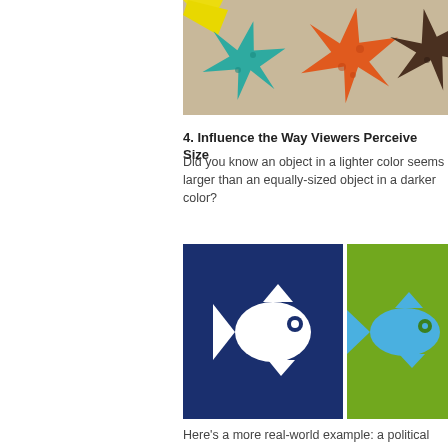[Figure (illustration): Colorful starfish illustration on a tan/beige background — teal starfish on the left, large orange starfish in the center, dark brown starfish partially visible on the right, yellow element at top left.]
4. Influence the Way Viewers Perceive Size
Did you know an object in a lighter color seems larger than an equally-sized object in a darker color?
[Figure (illustration): Two side-by-side fish icons demonstrating color and size perception. Left: white fish silhouette on dark navy blue background. Right: blue fish silhouette on bright green background — the fish appears smaller due to the darker color.]
Here's a more real-world example: a political advertisement contrasting two people may use a photo of the oppos...